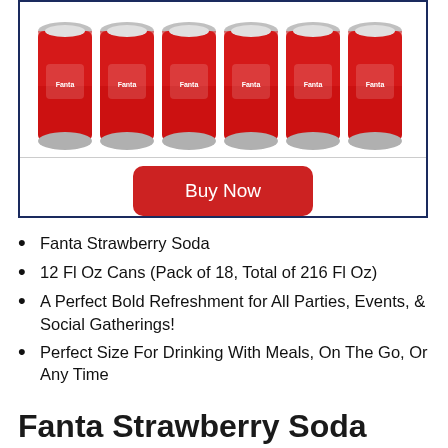[Figure (photo): Six red Fanta Strawberry Soda cans arranged in a row inside a dark navy-bordered product box]
Buy Now
Fanta Strawberry Soda
12 Fl Oz Cans (Pack of 18, Total of 216 Fl Oz)
A Perfect Bold Refreshment for All Parties, Events, & Social Gatherings!
Perfect Size For Drinking With Meals, On The Go, Or Any Time
Fanta Strawberry Soda